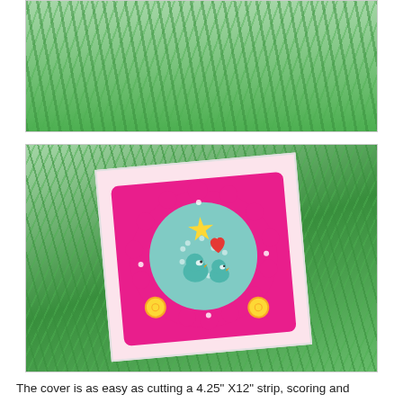[Figure (photo): Top portion of a photo showing green paper squiggle filler/shredded crinkle paper inside a box, cropped at top of page]
[Figure (photo): A decorative handmade card with pink floral patterned paper, hot pink scalloped layers, a teal polka-dot circle, two cute teal bird embellishments with a red heart and gold star, and yellow button accents, sitting in a box filled with green paper squiggles/crinkle filler]
The cover is as easy as cutting a 4.25" X12" strip, scoring and wrapping around the box.  I would suggest wrapping the paper around the completed inner box to determine where